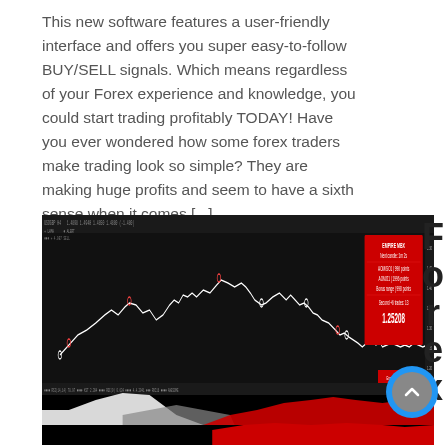This new software features a user-friendly interface and offers you super easy-to-follow BUY/SELL signals. Which means regardless of your Forex experience and knowledge, you could start trading profitably TODAY! Have you ever wondered how some forex traders make trading look so simple? They are making huge profits and seem to have a sixth sense when it comes [...]
[Figure (screenshot): A forex trading chart interface on a black background showing a white candlestick/line chart with buy/sell signals (small colored dots), a red information panel in the upper right showing trade statistics including a value of 1.25208, and a lower panel showing an oscillator/indicator with white, gray and red filled areas.]
Forex
[Figure (other): A circular blue button with a gray inner circle containing an upward arrow icon]
S